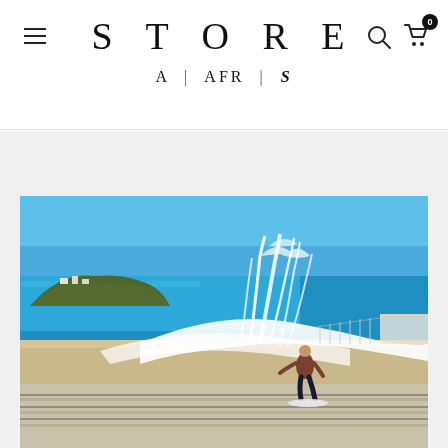STORE | A | AFR | S
[Figure (photo): A surfer riding a wave at what appears to be Bondi Icebergs pool in Sydney, Australia. The photo shows a wave crashing over the pool wall with spray shooting up, blue ocean and a headland in the background under a clear blue sky.]